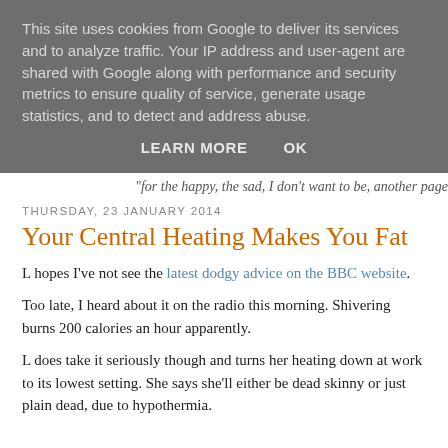This site uses cookies from Google to deliver its services and to analyze traffic. Your IP address and user-agent are shared with Google along with performance and security metrics to ensure quality of service, generate usage statistics, and to detect and address abuse.
LEARN MORE   OK
"for the happy, the sad, I don't want to be, another page
THURSDAY, 23 JANUARY 2014
Your Central Heating Makes You Fat
L hopes I've not see the latest dodgy advice on the BBC website.
Too late, I heard about it on the radio this morning. Shivering burns 200 calories an hour apparently.
L does take it seriously though and turns her heating down at work to its lowest setting. She says she'll either be dead skinny or just plain dead, due to hypothermia.